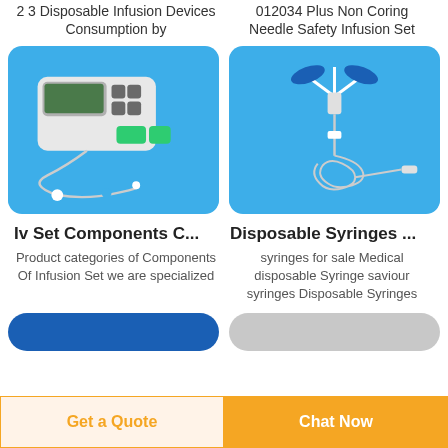2 3 Disposable Infusion Devices Consumption by
012034 Plus Non Coring Needle Safety Infusion Set
[Figure (photo): IV infusion pump device with tubing components on blue background]
[Figure (photo): Non-coring needle safety infusion set with coiled tubing on blue background]
Iv Set Components C...
Disposable Syringes ...
Product categories of Components Of Infusion Set we are specialized
syringes for sale Medical disposable Syringe saviour syringes Disposable Syringes
Get a Quote
Chat Now